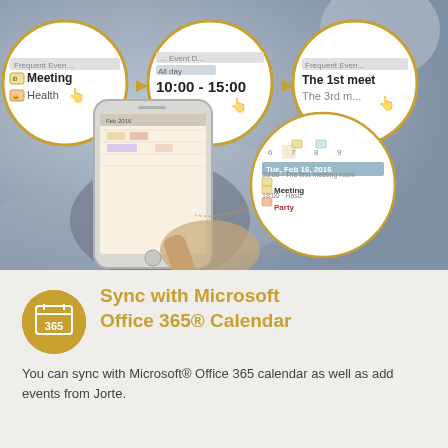[Figure (screenshot): App screenshot showing calendar sync feature with three zoomed circles showing Frequent Events list with Meeting and Health items, time selection 10:00-15:00, and event name entry. A hand holds a phone showing a calendar app, with a fourth circle showing a calendar popup for Tue Feb 16, 2016 with Meeting at 10:00 and Party at 18:00.]
Sync with Microsoft Office 365® Calendar
You can sync with Microsoft® Office 365 calendar as well as add events from Jorte.